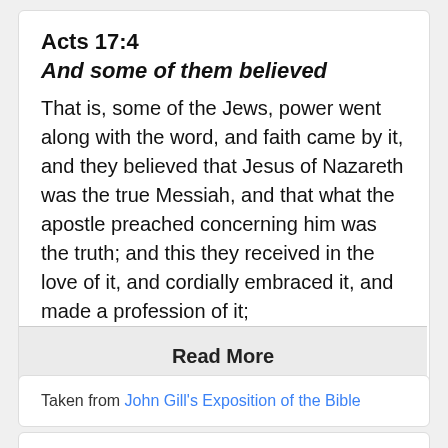Acts 17:4
And some of them believed
That is, some of the Jews, power went along with the word, and faith came by it, and they believed that Jesus of Nazareth was the true Messiah, and that what the apostle preached concerning him was the truth; and this they received in the love of it, and cordially embraced it, and made a profession of it;
Read More
Taken from John Gill's Exposition of the Bible
Acts 17:4 In-Context